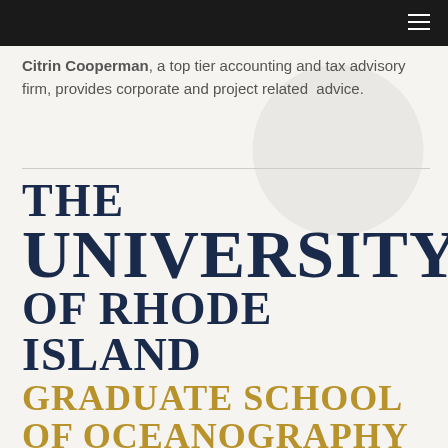Citrin Cooperman, a top tier accounting and tax advisory firm, provides corporate and project related advice.
THE UNIVERSITY OF RHODE ISLAND GRADUATE SCHOOL OF OCEANOGRAPHY